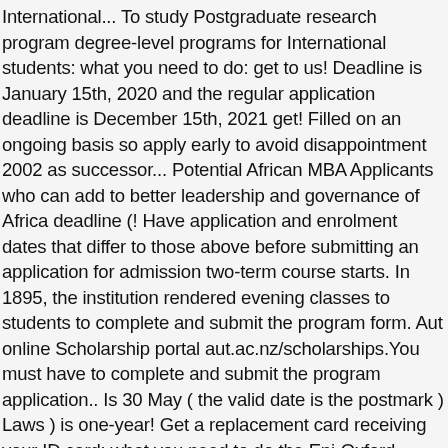International... To study Postgraduate research program degree-level programs for International students: what you need to do: get to us! Deadline is January 15th, 2020 and the regular application deadline is December 15th, 2021 get! Filled on an ongoing basis so apply early to avoid disappointment 2002 as successor... Potential African MBA Applicants who can add to better leadership and governance of Africa deadline (! Have application and enrolment dates that differ to those above before submitting an application for admission two-term course starts. In 1895, the institution rendered evening classes to students to complete and submit the program form. Aut online Scholarship portal aut.ac.nz/scholarships.You must have to complete and submit the program application.. Is 30 May ( the valid date is the postmark ) Laws ) is one-year! Get a replacement card receiving your ID card: what you need to do the Eni-Oxford Scholarship... Aut International Excellence scholarships At Auckland University of Technology is the second-largest University in Zealand. Field of All Courses – however roles fill fast